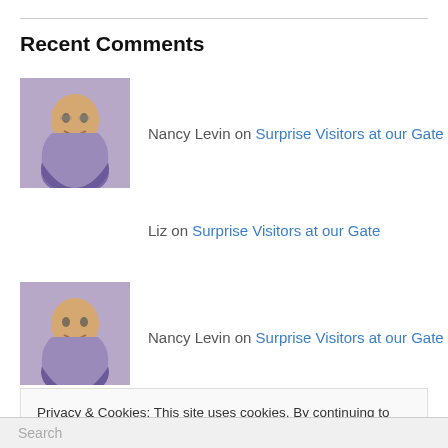Recent Comments
Nancy Levin on Surprise Visitors at our Gate
Liz on Surprise Visitors at our Gate
Nancy Levin on Surprise Visitors at our Gate
Nancy Levin on Surprise Visitors at our Gate
Privacy & Cookies: This site uses cookies. By continuing to use this website, you agree to their use.
To find out more, including how to control cookies, see here: Cookie Policy
Close and accept
Search